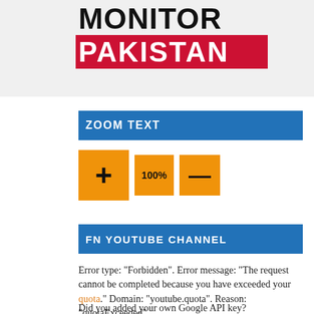[Figure (logo): Monitor Pakistan logo — MONITOR in black bold text above red bar with PAKISTAN in white bold text]
ZOOM TEXT
[Figure (other): Three orange buttons: plus (+), 100%, and minus (-) for text zoom controls]
FN YOUTUBE CHANNEL
Error type: "Forbidden". Error message: "The request cannot be completed because you have exceeded your quota." Domain: "youtube.quota". Reason: "quotaExceeded".
Did you added your own Google API key?